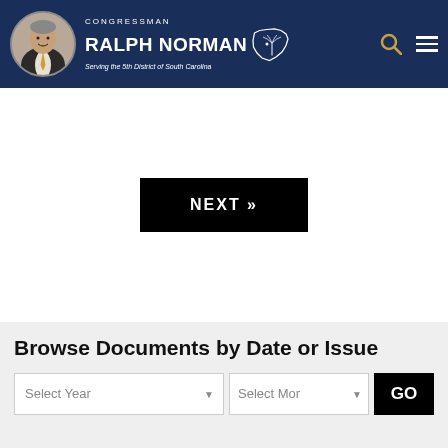CONGRESSMAN RALPH NORMAN - Serving the 5th District of South Carolina
[Figure (other): NEXT button - black rectangle with white bold text NEXT »]
Browse Documents by Date or Issue
Select Year dropdown, Select Month dropdown, GO button